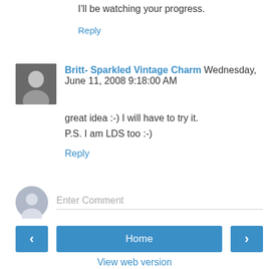I'll be watching your progress.
Reply
Britt- Sparkled Vintage Charm Wednesday, June 11, 2008 9:18:00 AM
great idea :-) I will have to try it.
P.S. I am LDS too :-)
Reply
Enter Comment
Home
View web version
Powered by Blogger.